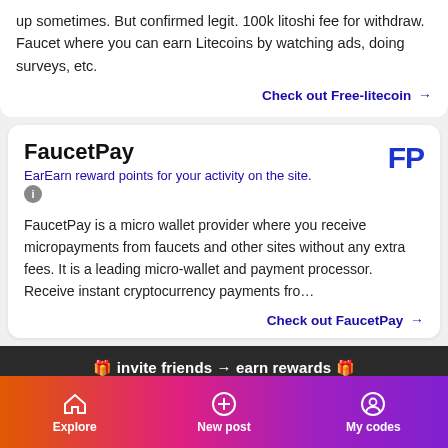up sometimes. But confirmed legit. 100k litoshi fee for withdraw. Faucet where you can earn Litecoins by watching ads, doing surveys, etc.
Check out Free-litecoin →
FaucetPay
EarEarn reward points for your activity on the site.
FaucetPay is a micro wallet provider where you receive micropayments from faucets and other sites without any extra fees. It is a leading micro-wallet and payment processor. Receive instant cryptocurrency payments fro…
Check out FaucetPay →
🎁 invite friends → earn rewards 🎁
Explore | New post | My codes